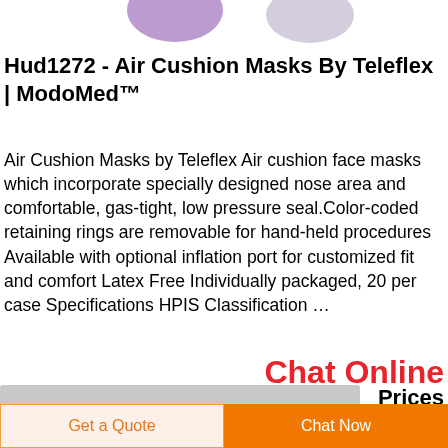[Figure (photo): Partial view of purple and gray air cushion face masks at top of page]
Hud1272 - Air Cushion Masks By Teleflex | ModoMed™
Air Cushion Masks by Teleflex Air cushion face masks which incorporate specially designed nose area and comfortable, gas-tight, low pressure seal.Color-coded retaining rings are removable for hand-held procedures Available with optional inflation port for customized fit and comfort Latex Free Individually packaged, 20 per case Specifications HPIS Classification …
Chat Online
[Figure (photo): Partial gray image strip at bottom left of page]
Prices
Get a Quote
Chat Now